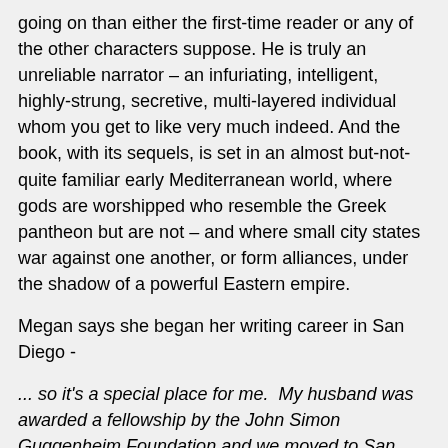going on than either the first-time reader or any of the other characters suppose. He is truly an unreliable narrator – an infuriating, intelligent, highly-strung, secretive, multi-layered individual whom you get to like very much indeed. And the book, with its sequels, is set in an almost but-not-quite familiar early Mediterranean world, where gods are worshipped who resemble the Greek pantheon but are not – and where small city states war against one another, or form alliances, under the shadow of a powerful Eastern empire.
Megan says she began her writing career in San Diego -
... so it's a special place for me.  My husband was awarded a fellowship by the John Simon Guggenheim Foundation and we moved to San Diego for a year so that he could write a book. While he was working on his book, I wrote my collection of short stories, 'Instead of Three Wishes'. We moved home to Maryland for a year and then came back to San Diego the next summer. We stayed in the same apartment building, right across from the beach, and I drafted 'The Thief'. At the end of the summer we moved to Northern California for a year, and then back to Maryland.